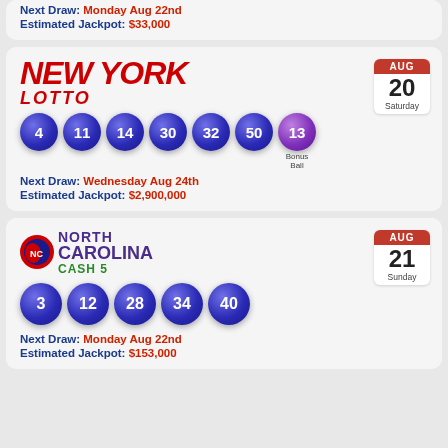Next Draw: Monday Aug 22nd
Estimated Jackpot: $33,000
[Figure (infographic): New York Lotto lottery card. Date: AUG 20 Saturday. Balls: 4, 11, 14, 30, 32, 50, Bonus Ball 13. Next Draw: Wednesday Aug 24th. Estimated Jackpot: $2,900,000.]
[Figure (infographic): North Carolina Cash 5 lottery card. Date: AUG 21 Sunday. Balls: 3, 12, 28, 34, 40. Next Draw: Monday Aug 22nd. Estimated Jackpot: $153,000.]